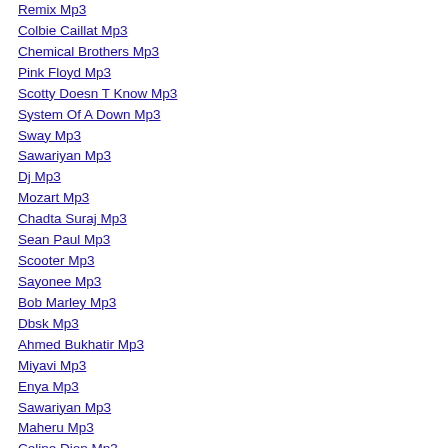Remix Mp3
Colbie Caillat Mp3
Chemical Brothers Mp3
Pink Floyd Mp3
Scotty Doesn T Know Mp3
System Of A Down Mp3
Sway Mp3
Sawariyan Mp3
Dj Mp3
Mozart Mp3
Chadta Suraj Mp3
Sean Paul Mp3
Scooter Mp3
Sayonee Mp3
Bob Marley Mp3
Dbsk Mp3
Ahmed Bukhatir Mp3
Miyavi Mp3
Enya Mp3
Sawariyan Mp3
Maheru Mp3
Celine Dion Mp3
Kekasih Gelapku Mp3
Gummy Bear Mp3
Takbir Mp3
Marathi Mp3